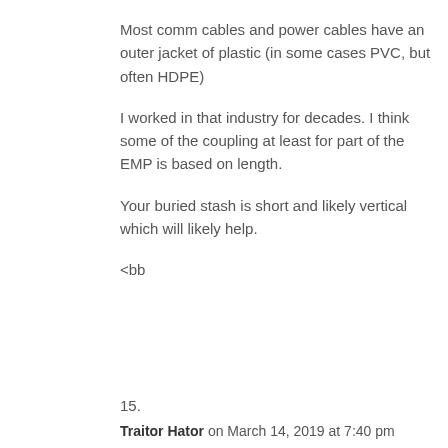Most comm cables and power cables have an outer jacket of plastic (in some cases PVC, but often HDPE)
I worked in that industry for decades. I think some of the coupling at least for part of the EMP is based on length.
Your buried stash is short and likely vertical which will likely help.
<bb
15.
Traitor Hator on March 14, 2019 at 7:40 pm